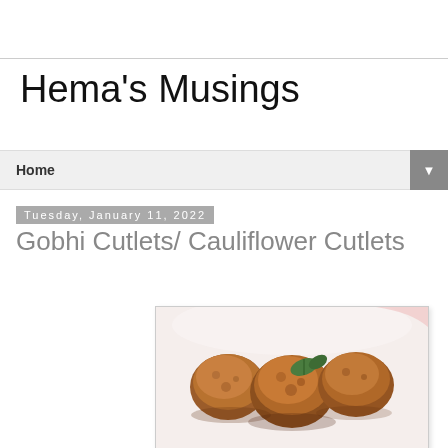Hema's Musings
Home
Tuesday, January 11, 2022
Gobhi Cutlets/ Cauliflower Cutlets
[Figure (photo): Photo of Gobhi (cauliflower) cutlets on a white plate, golden-brown fried balls garnished with a green leaf, shown close-up from above.]